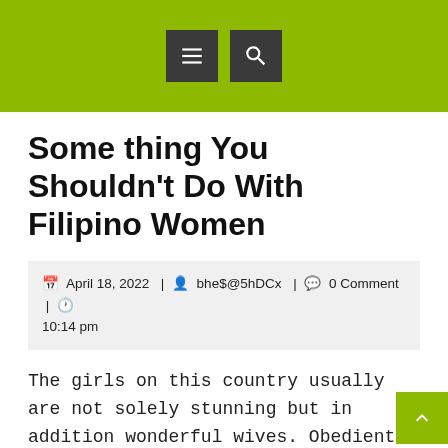[Navigation bar with menu and search icons]
Some thing You Shouldn't Do With Filipino Women
April 18, 2022 | bhe$@5hDCx | 0 Comment | 10:14 pm
The girls on this country usually are not solely stunning but in addition wonderful wives. Obedient and non-conflict Filipino brides are a real treasure for family relationships. Many of Filipino girls for marriage usually are not properly educated, and this reality permits them to not be ahead of their men in any facet and, moreover, argue with them.